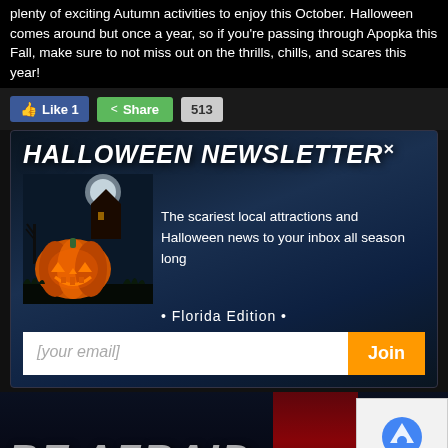plenty of exciting Autumn activities to enjoy this October. Halloween comes around but once a year, so if you're passing through Apopka this Fall, make sure to not miss out on the thrills, chills, and scares this year!
[Figure (screenshot): Social media like and share buttons with like count of 1 and share count of 513]
[Figure (infographic): Halloween Newsletter popup with dark Halloween background featuring a glowing jack-o-lantern pumpkin and haunted house. Title reads HALLOWEEN NEWSLETTER with close X. Text says: The scariest local attractions and Halloween news to your inbox all season long. Florida Edition. Email input field with Join button.]
[Figure (screenshot): Bottom section with large text BE AFRAID in grey horror font, bloody red overlay panel, and reCAPTCHA box in bottom right corner]